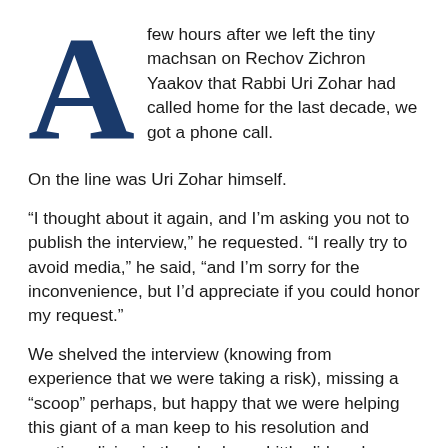A few hours after we left the tiny machsan on Rechov Zichron Yaakov that Rabbi Uri Zohar had called home for the last decade, we got a phone call.
On the line was Uri Zohar himself.
“I thought about it again, and I’m asking you not to publish the interview,” he requested. “I really try to avoid media,” he said, “and I’m sorry for the inconvenience, but I’d appreciate if you could honor my request.”
We shelved the interview (knowing from experience that we were taking a risk), missing a “scoop” perhaps, but happy that we were helping this giant of a man keep to his resolution and continue living in the shadows. Little did we know that just a few weeks later, it would become his eulogy.